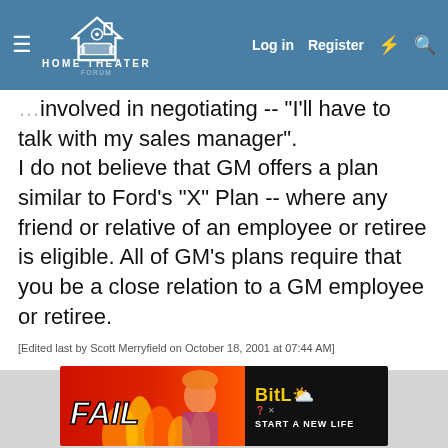Home Theater Forum — Log in | Register
involved in negotiating -- "I'll have to talk with my sales manager". I do not believe that GM offers a plan similar to Ford's "X" Plan -- where any friend or relative of an employee or retiree is eligible. All of GM's plans require that you be a close relation to a GM employee or retiree.
[Edited last by Scott Merryfield on October 18, 2001 at 07:44 AM]
[Figure (screenshot): Advertisement banner for BitLife mobile game with 'FAIL' text on red/fire background and 'START A NEW LIFE' tagline on black background]